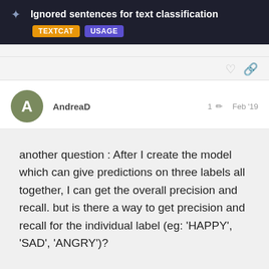Ignored sentences for text classification
AndreaD   1  Feb '19
another question : After I create the model which can give predictions on three labels all together, I can get the overall precision and recall. but is there a way to get precision and recall for the individual label (eg: 'HAPPY', 'SAD', 'ANGRY')?